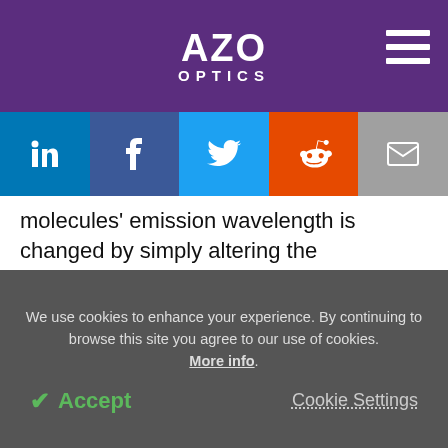AZO OPTICS
[Figure (other): Social sharing buttons: LinkedIn, Facebook, Twitter, Reddit, Email]
molecules' emission wavelength is changed by simply altering the wavelength of light within the glass ring. This flexibility is one of the reasons why Raman lasers—currently known as surface stimulated Raman lasers—are very popular across various fields such as communications, diagnostics, and defense.
We use cookies to enhance your experience. By continuing to browse this site you agree to our use of cookies. More info.
✔ Accept   Cookie Settings